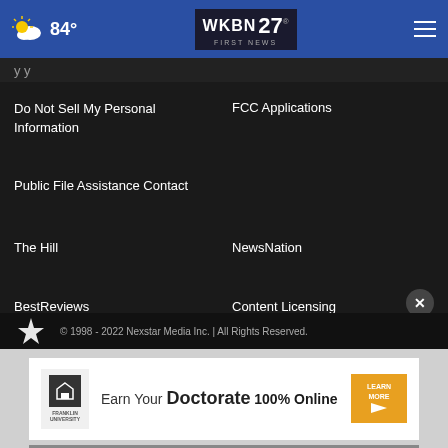84° WKBN 27 First News
y y
Do Not Sell My Personal Information
FCC Applications
Public File Assistance Contact
The Hill
NewsNation
BestReviews
Content Licensing
Nexstar Digital
© 1998 - 2022 Nexstar Media Inc. | All Rights Reserved.
[Figure (screenshot): Franklin University advertisement: Earn Your Doctorate 100% Online]